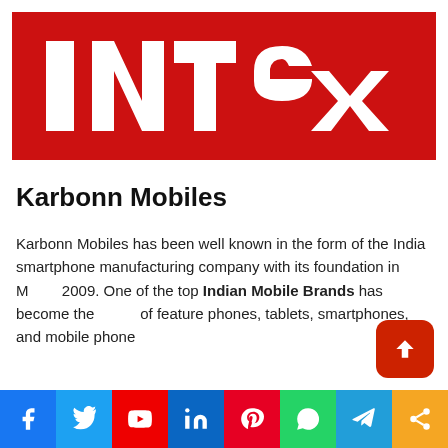[Figure (logo): Intex brand logo — white bold 'INTeX' text on a solid red background]
Karbonn Mobiles
Karbonn Mobiles has been well known in the form of the India smartphone manufacturing company with its foundation in March 2009. One of the top Indian Mobile Brands has become the maker of feature phones, tablets, smartphones, and mobile phone
[Figure (infographic): Social media share bar with icons for Facebook, Twitter, YouTube, LinkedIn, Pinterest, WhatsApp, Telegram, and Share]